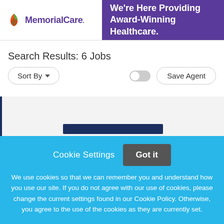[Figure (logo): MemorialCare logo with leaf icon and purple text, banner with tagline 'We're Here Providing Award-Winning Healthcare.']
Search Results: 6 Jobs
Sort By | Save Agent (controls row)
[Figure (screenshot): Job listing card area with dark blue left border and dark navy bar element]
Cookie Settings  Got it

We use cookies so that we can remember you and understand how you use our site. If you do not agree with our use of cookies, please change the current settings found in our Cookie Policy. Otherwise, you agree to the use of the cookies as they are currently set.